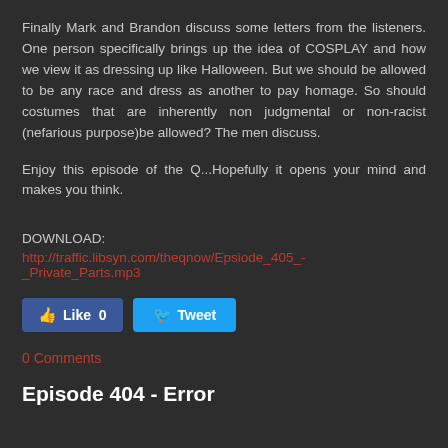Finally Mark and Brandon discuss some letters from the listeners. One person specifically brings up the idea of COSPLAY and how we view it as dressing up like Halloween. But we should be allowed to be any race and dress as another to pay homage. So should costumes that are inherently non judgmental or non-racist (nefarious purpose)be allowed? The men discuss.
Enjoy this episode of the Q...Hopefully it opens your mind and makes you think.
DOWNLOAD:
http://traffic.libsyn.com/theqnow/Epsiode_405_-_Private_Parts.mp3
[Figure (other): Like button and Tweet button social media widgets]
0 Comments
Episode 404 - Error